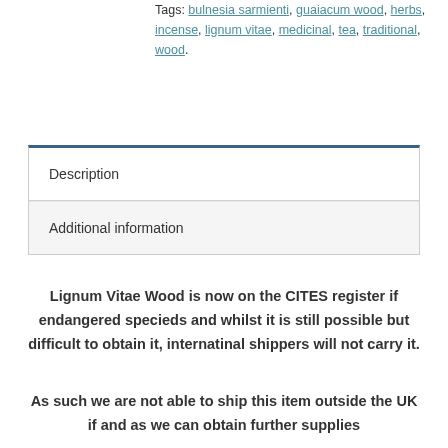Tags: bulnesia sarmienti, guaiacum wood, herbs, incense, lignum vitae, medicinal, tea, traditional, wood.
Description
Additional information
Lignum Vitae Wood is now on the CITES register if endangered specieds and whilst it is still possible but difficult to obtain it, internatinal shippers will not carry it.
As such we are not able to ship this item outside the UK if and as we can obtain further supplies